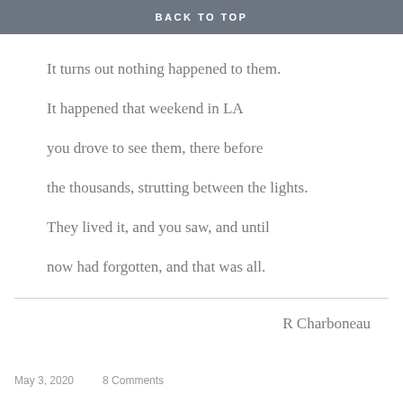BACK TO TOP
It turns out nothing happened to them.
It happened that weekend in LA
you drove to see them, there before
the thousands, strutting between the lights.
They lived it, and you saw, and until
now had forgotten, and that was all.
R Charboneau
May 3, 2020    8 Comments